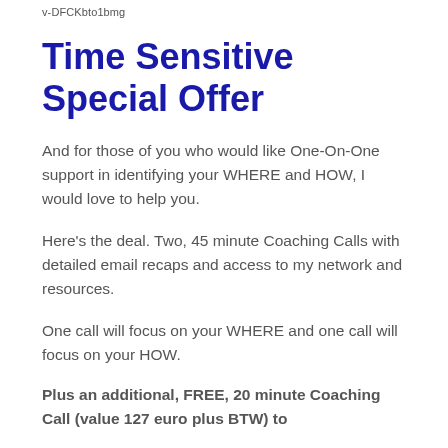v-DFCKbto1bmg
Time Sensitive Special Offer
And for those of you who would like One-On-One support in identifying your WHERE and HOW, I would love to help you.
Here's the deal. Two, 45 minute Coaching Calls with detailed email recaps and access to my network and resources.
One call will focus on your WHERE and one call will focus on your HOW.
Plus an additional, FREE, 20 minute Coaching Call (value 127 euro plus BTW) to